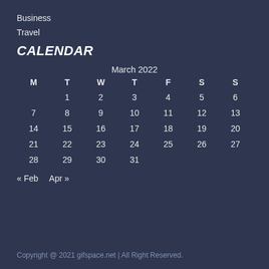Business
Travel
CALENDAR
| M | T | W | T | F | S | S |
| --- | --- | --- | --- | --- | --- | --- |
|  | 1 | 2 | 3 | 4 | 5 | 6 |
| 7 | 8 | 9 | 10 | 11 | 12 | 13 |
| 14 | 15 | 16 | 17 | 18 | 19 | 20 |
| 21 | 22 | 23 | 24 | 25 | 26 | 27 |
| 28 | 29 | 30 | 31 |  |  |  |
« Feb  Apr »
Copyright @ 2021 gifspace.net | All Right Reserved.